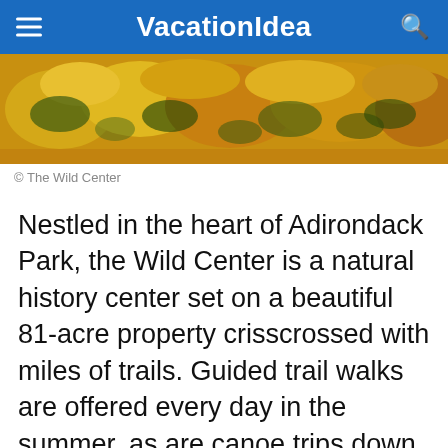VacationIdea
[Figure (photo): Photograph of colorful yellow and orange autumn foliage at The Wild Center]
© The Wild Center
Nestled in the heart of Adirondack Park, the Wild Center is a natural history center set on a beautiful 81-acre property crisscrossed with miles of trails. Guided trail walks are offered every day in the summer, as are canoe trips down the river that runs through the property. Thanks to an attraction known as the Wild Walk, visitors also have the chance